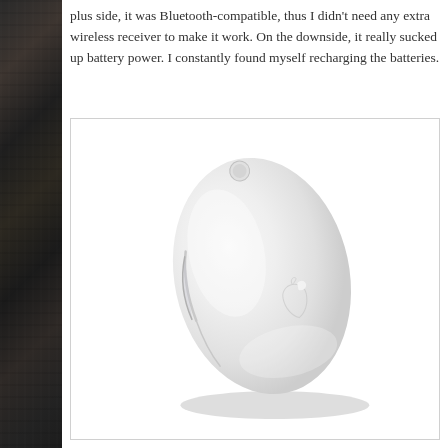plus side, it was Bluetooth-compatible, thus I didn't need any extra wireless receiver to make it work. On the downside, it really sucked up battery power. I constantly found myself recharging the batteries.
[Figure (photo): A white Apple Bluetooth wireless mouse (Apple Mighty Mouse / similar model) photographed from above on a white background. The mouse is white, oval-shaped, with a small circular scroll button at the top and an embossed Apple logo on the right side.]